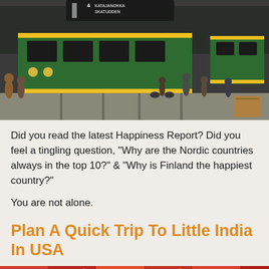[Figure (photo): Street scene with green and yellow trams on a city street with pedestrians and a cyclist, Helsinki Finland]
Did you read the latest Happiness Report? Did you feel a tingling question, “Why are the Nordic countries always in the top 10?” & “Why is Finland the happiest country?”
You are not alone.
Plan A Quick Trip To Little India In USA
[Figure (photo): Colorful Indian market or festival scene with red and orange colors and crowds of people]